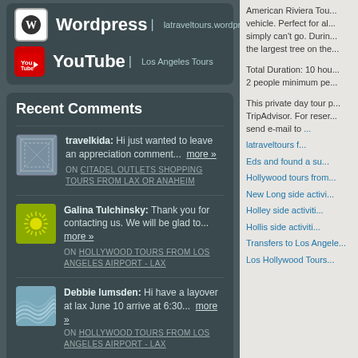Wordpress | latraveltours.wordpress.com
YouTube | Los Angeles Tours
Recent Comments
travelkida: Hi just wanted to leave an appreciation comment... more » ON CITADEL OUTLETS SHOPPING TOURS FROM LAX OR ANAHEIM
Galina Tulchinsky: Thank you for contacting us. We will be glad to... more » ON HOLLYWOOD TOURS FROM LOS ANGELES AIRPORT - LAX
Debbie lumsden: Hi have a layover at lax June 10 arrive at 6:30... more » ON HOLLYWOOD TOURS FROM LOS ANGELES AIRPORT - LAX
American Riviera Tou... vehicle. Perfect for al... simply can't go. Durin... the largest tree on the...
Total Duration: 10 hou... 2 people minimum pe...
This private day tour p... TripAdvisor. For reser... send e-mail to ...